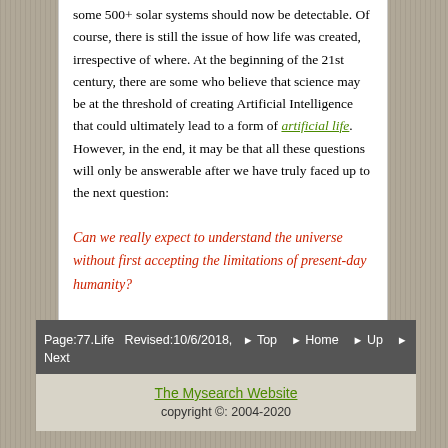some 500+ solar systems should now be detectable. Of course, there is still the issue of how life was created, irrespective of where. At the beginning of the 21st century, there are some who believe that science may be at the threshold of creating Artificial Intelligence that could ultimately lead to a form of artificial life. However, in the end, it may be that all these questions will only be answerable after we have truly faced up to the next question:
Can we really expect to understand the universe without first accepting the limitations of present-day humanity?
Page:77.Life  Revised:10/6/2018,  ▶ Top  ▶ Home  ▶ Up  ▶ Next
The Mysearch Website
copyright ©: 2004-2020